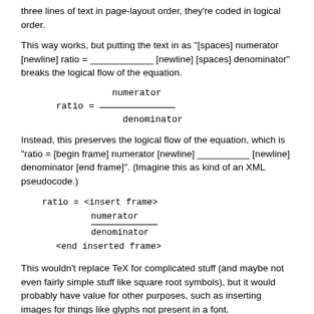three lines of text in page-layout order, they're coded in logical order.
This way works, but putting the text in as "[spaces] numerator [newline] ratio = ____________ [newline] [spaces] denominator" breaks the logical flow of the equation.
Instead, this preserves the logical flow of the equation, which is "ratio = [begin frame] numerator [newline] __________ [newline] denominator [end frame]". (Imagine this as kind of an XML pseudocode.)
This wouldn't replace TeX for complicated stuff (and maybe not even fairly simple stuff like square root symbols), but it would probably have value for other purposes, such as inserting images for things like glyphs not present in a font.
I haven't looked at the code for Scribus, but depending on how complicated it is, I might be able to code this myself, if I get some pointers at where to start.